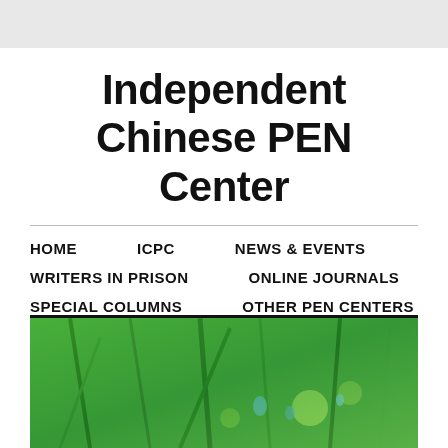Independent Chinese PEN Center
HOME
ICPC
NEWS & EVENTS
WRITERS IN PRISON
ONLINE JOURNALS
SPECIAL COLUMNS
OTHER PEN CENTERS
SPECIAL TOPICS
[Figure (photo): Close-up photograph of green grass or plant stems with water droplets, vivid green tones]